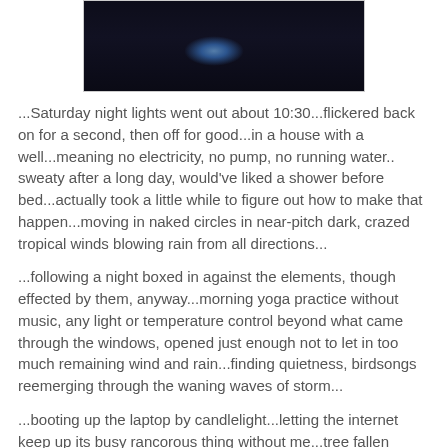[Figure (photo): Dark nighttime photo with a faint blue-white light glow visible in the center against a very dark background]
...Saturday night lights went out about 10:30...flickered back on for a second, then off for good...in a house with a well...meaning no electricity, no pump, no running water.. sweaty after a long day, would've liked a shower before bed...actually took a little while to figure out how to make that happen...moving in naked circles in near-pitch dark, crazed tropical winds blowing rain from all directions...
...following a night boxed in against the elements, though effected by them, anyway...morning yoga practice without music, any light or temperature control beyond what came through the windows, opened just enough not to let in too much remaining wind and rain...finding quietness, birdsongs reemerging through the waning waves of storm...
...booting up the laptop by candlelight...letting the internet keep up its busy rancorous thing without me...tree fallen across the lines blocking half a major roadway...the tree